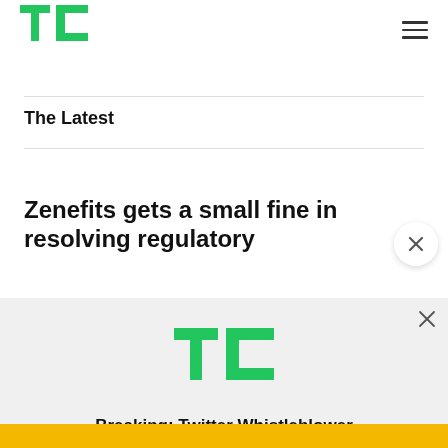TechCrunch
The Latest
Zenefits gets a small fine in resolving regulatory
[Figure (logo): TechCrunch TC logo in green, displayed inside ad overlay]
Breaking: Twitter Whistleblower
READ NOW